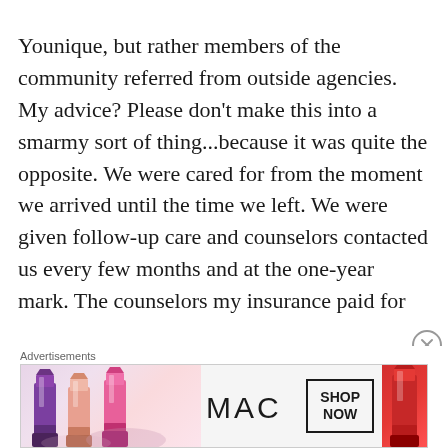Younique, but rather members of the community referred from outside agencies. My advice? Please don't make this into a smarmy sort of thing...because it was quite the opposite. We were cared for from the moment we arrived until the time we left. We were given follow-up care and counselors contacted us every few months and at the one-year mark. The counselors my insurance paid for
[Figure (photo): MAC Cosmetics advertisement banner showing lipsticks in purple, peach, and pink shades on the left, MAC logo in center, SHOP NOW button, and red lipstick on right side]